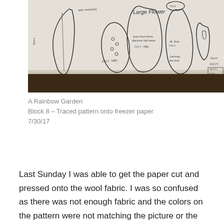[Figure (photo): A photograph of sewing/quilting pattern pieces traced onto semi-transparent freezer paper. The pattern pieces show various flower and leaf shapes with handwritten labels. Text 'Large Flower' is visible near the top center.]
A Rainbow Garden
Block 8 – Traced pattern onto freezer paper
7/30/17
Last Sunday I was able to get the paper cut and pressed onto the wool fabric.  I was so confused as there was not enough fabric and the colors on the pattern were not matching the picture or the fabric I had.  Lucikly I keep every scrap/remnant and wont through my little baggie to